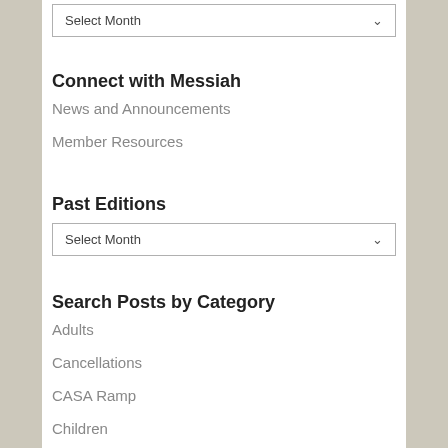Select Month
Connect with Messiah
News and Announcements
Member Resources
Past Editions
Select Month
Search Posts by Category
Adults
Cancellations
CASA Ramp
Children
Christian Education
Comforters